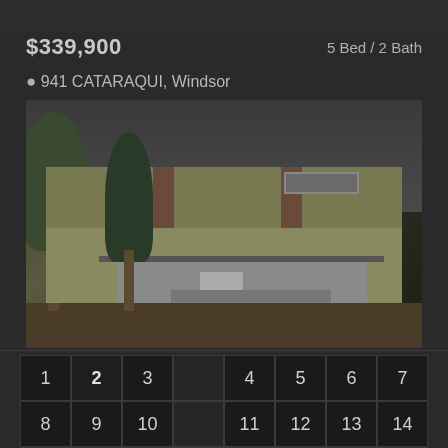$339,900
5 Bed / 2 Bath
941 CATARAQUI, Windsor
[Figure (photo): Exterior photo of a two-story yellow house with brown accents, covered porch with steps, conifer trees in front, winter/overcast conditions]
| 1 | 2 | 3 | 4 | 5 | 6 | 7 |
| --- | --- | --- | --- | --- | --- | --- |
| 8 | 9 | 10 | 11 | 12 | 13 | 14 |
| 15 | 16 | 17 | 18 | 19 | 20 | 21 |
| 22 | 23 | 24 | 25 | 26 | 27 | 28 |